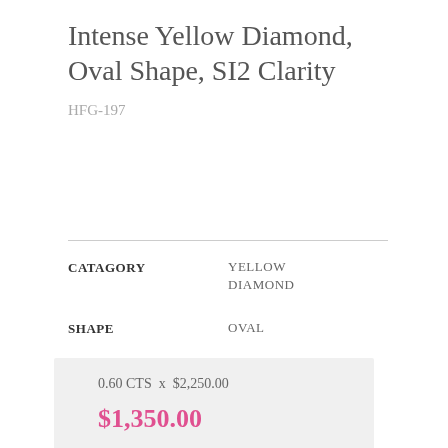Intense Yellow Diamond, Oval Shape, SI2 Clarity
HFG-197
CATAGORY: YELLOW DIAMOND
SHAPE: OVAL
CERTIFICATE: 2205468977
0.60 CTS  x  $2,250.00
$1,350.00